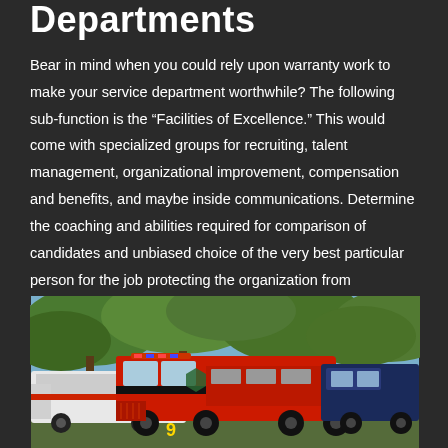Departments
Bear in mind when you could rely upon warranty work to make your service department worthwhile? The following sub-function is the "Facilities of Excellence." This would come with specialized groups for recruiting, talent management, organizational improvement, compensation and benefits, and maybe inside communications. Determine the coaching and abilities required for comparison of candidates and unbiased choice of the very best particular person for the job protecting the organization from discrimination claims.
[Figure (photo): Red fire trucks parked outdoors with trees in the background. A large red fire engine with number 9 is visible in the foreground.]